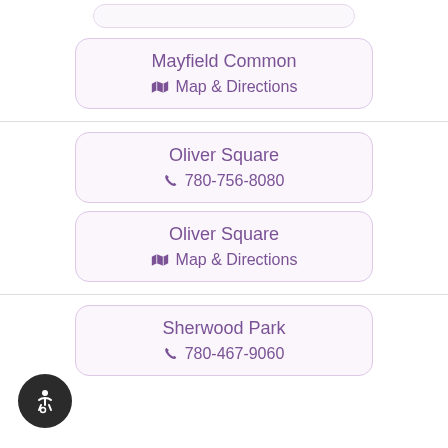Mayfield Common
🗺 Map & Directions
Oliver Square
📞 780-756-8080
Oliver Square
🗺 Map & Directions
Sherwood Park
📞 780-467-9060